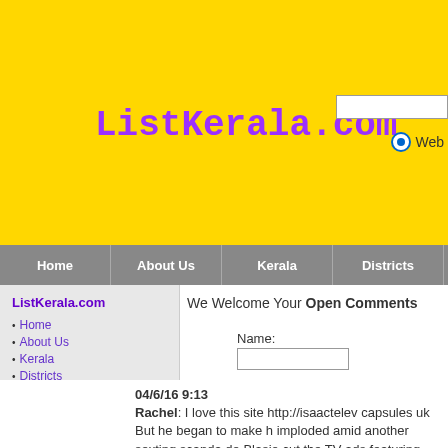ListKerala.com
Home | About Us | Kerala | Districts | STD Codes
ListKerala.com
Home
About Us
Kerala
Districts
STD Codes
Pin Codes
Advertise
Enquiry
Contact Us
We Welcome Your Open Comments
Name:
Message:
04/6/16 9:13
Rachel: I love this site http://isaactele... capsules uk But he began to make h... imploded amid another sexting scanda... de Blasio cut the TV ads featuring his...